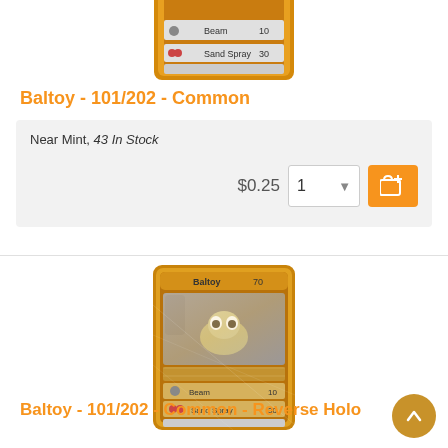[Figure (photo): Cropped top portion of a Baltoy Pokémon card with yellow/orange border showing moves Beam 10 and Sand Spray 30]
Baltoy - 101/202 - Common
Near Mint, 43 In Stock
$0.25
[Figure (photo): Baltoy Reverse Holo Pokémon card 101/202, showing Baltoy artwork with holographic shimmer effect, moves Beam 10 and Sand Spray 30]
Baltoy - 101/202 - Common - Reverse Holo